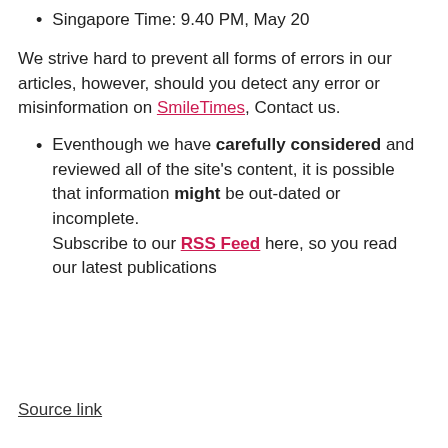Singapore Time: 9.40 PM, May 20
We strive hard to prevent all forms of errors in our articles, however, should you detect any error or misinformation on SmileTimes, Contact us.
Eventhough we have carefully considered and reviewed all of the site's content, it is possible that information might be out-dated or incomplete. Subscribe to our RSS Feed here, so you read our latest publications
Source link